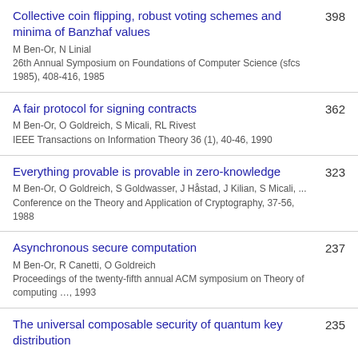Collective coin flipping, robust voting schemes and minima of Banzhaf values | M Ben-Or, N Linial | 26th Annual Symposium on Foundations of Computer Science (sfcs 1985), 408-416, 1985 | 398
A fair protocol for signing contracts | M Ben-Or, O Goldreich, S Micali, RL Rivest | IEEE Transactions on Information Theory 36 (1), 40-46, 1990 | 362
Everything provable is provable in zero-knowledge | M Ben-Or, O Goldreich, S Goldwasser, J Håstad, J Kilian, S Micali, ... | Conference on the Theory and Application of Cryptography, 37-56, 1988 | 323
Asynchronous secure computation | M Ben-Or, R Canetti, O Goldreich | Proceedings of the twenty-fifth annual ACM symposium on Theory of computing …, 1993 | 237
The universal composable security of quantum key distribution | 235